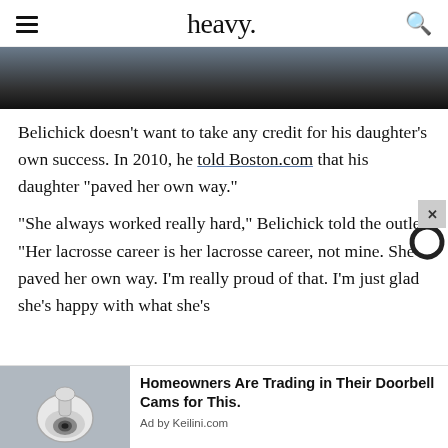heavy.
[Figure (photo): Partial view of a dark image, likely showing a car interior or similar scene, cropped at the top of the article.]
Belichick doesn't want to take any credit for his daughter's own success. In 2010, he told Boston.com that his daughter “paved her own way.”
“She always worked really hard,” Belichick told the outlet. “Her lacrosse career is her lacrosse career, not mine. She paved her own way. I’m really proud of that. I’m just glad she’s happy with what she’s
[Figure (photo): Security camera, white dome style, shown in an advertisement for Keilini.com doorbell cam replacement product.]
Homeowners Are Trading in Their Doorbell Cams for This.
Ad by Keilini.com